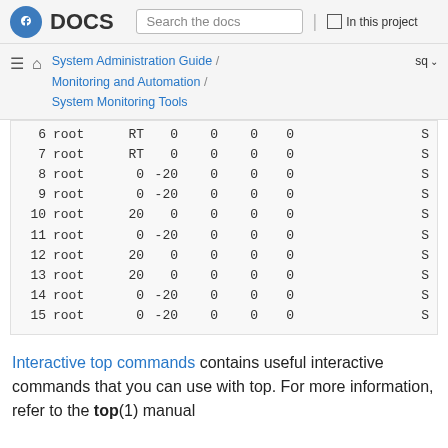Fedora DOCS | Search the docs | In this project
System Administration Guide / Monitoring and Automation / System Monitoring Tools | sq
| 6 | root | RT | 0 | 0 | 0 | 0 | S |
| 7 | root | RT | 0 | 0 | 0 | 0 | S |
| 8 | root | 0 | -20 | 0 | 0 | 0 | S |
| 9 | root | 0 | -20 | 0 | 0 | 0 | S |
| 10 | root | 20 | 0 | 0 | 0 | 0 | S |
| 11 | root | 0 | -20 | 0 | 0 | 0 | S |
| 12 | root | 20 | 0 | 0 | 0 | 0 | S |
| 13 | root | 20 | 0 | 0 | 0 | 0 | S |
| 14 | root | 0 | -20 | 0 | 0 | 0 | S |
| 15 | root | 0 | -20 | 0 | 0 | 0 | S |
Interactive top commands contains useful interactive commands that you can use with top. For more information, refer to the top(1) manual